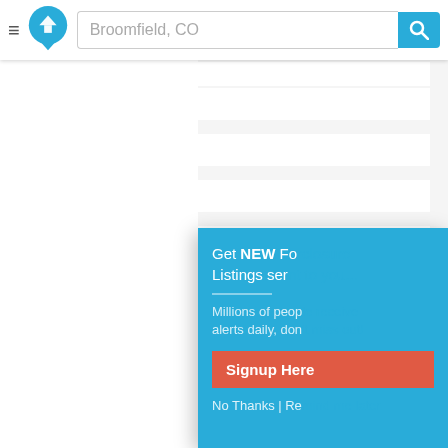[Figure (screenshot): Website header with hamburger menu, home logo icon, Broomfield CO search bar, and teal search button]
Foreclosures (44) [partially visible, cut off at top]
Bankruptcies (33)
Rent to Own
Tax Liens (89)
Sheriff Sales (6)
Short Sale
As-Is Deals
Fixer Uppers
City Owned
Remember, we update our listings often so be sure to check back daily!
[Figure (screenshot): Popup modal on teal background: Get NEW Foreclosure Listings sent... Millions of people receive alerts daily, don't... Signup Here button, No Thanks | Re... link]
Related Websites
Repodirect.com [external link icon]
Online auction for boats, cars, jet skis etc.